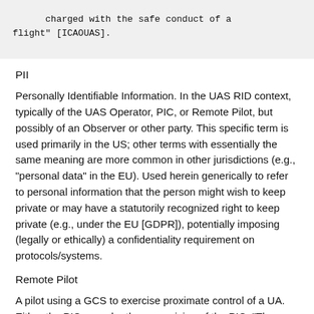charged with the safe conduct of a flight" [ICAOUAS].
PII
Personally Identifiable Information. In the UAS RID context, typically of the UAS Operator, PIC, or Remote Pilot, but possibly of an Observer or other party. This specific term is used primarily in the US; other terms with essentially the same meaning are more common in other jurisdictions (e.g., "personal data" in the EU). Used herein generically to refer to personal information that the person might wish to keep private or may have a statutorily recognized right to keep private (e.g., under the EU [GDPR]), potentially imposing (legally or ethically) a confidentiality requirement on protocols/systems.
Remote Pilot
A pilot using a GCS to exercise proximate control of a UA. Either the PIC or under the supervision of the PIC. "The